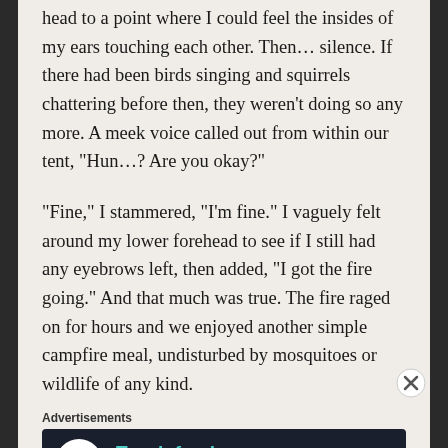head to a point where I could feel the insides of my ears touching each other. Then… silence. If there had been birds singing and squirrels chattering before then, they weren't doing so any more. A meek voice called out from within our tent, “Hun…? Are you okay?”
“Fine,” I stammered, “I’m fine.” I vaguely felt around my lower forehead to see if I still had any eyebrows left, then added, “I got the fire going.” And that much was true. The fire raged on for hours and we enjoyed another simple campfire meal, undisturbed by mosquitoes or wildlife of any kind.
Advertisements
[Figure (infographic): Advertisement banner with dark background showing a white circle icon with a tree/person silhouette, text 'Teach freely' in teal and 'Make money selling online courses.' in gray]